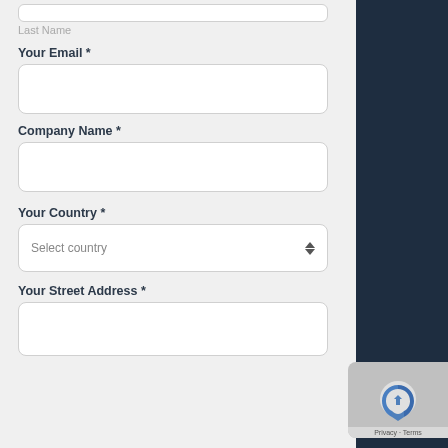Last Name
Your Email *
Company Name *
Your Country *
Your Street Address *
[Figure (screenshot): reCAPTCHA badge with Privacy and Terms links]